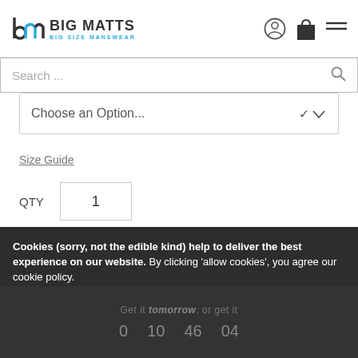[Figure (logo): Big Matts logo with stylized 'bm' icon and text 'BIG MATTS / BIG SIZE MANSWEAR']
Search ...
Choose an Option...
Size Guide
QTY  1
ADD TO BASKET
Cookies (sorry, not the edible kind) help to deliver the best experience on our website. By clicking 'allow cookies', you agree our cookie policy.
ALLOW COOKIES
Get it tomorrow, or get it
0  10  46  04